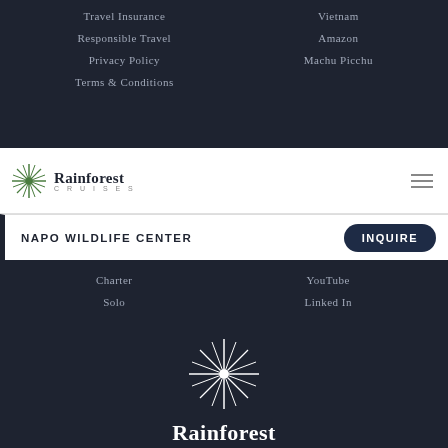Travel Insurance
Vietnam
Responsible Travel
Amazon
Privacy Policy
Machu Picchu
Terms & Conditions
[Figure (logo): Rainforest Cruises logo with green palm/burst leaf icon, text 'Rainforest' bold and 'CRUISES' in small caps below]
NAPO WILDLIFE CENTER
INQUIRE
Charter
YouTube
Solo
Linked In
[Figure (logo): Rainforest Cruises large centered logo: white starburst/sunburst icon, 'Rainforest' in white serif, 'CRUISES' letter-spaced below in gray]
© 2022 Rainforest Cruises. All rights reserved.